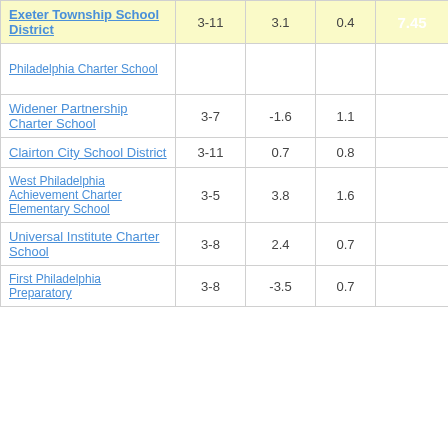| School Name | Grades | Col3 | Col4 | Score |
| --- | --- | --- | --- | --- |
| Exeter Township School District | 3-11 | 3.1 | 0.4 | 7.45 |
| Philadelphia Charter School |  |  |  |  |
| Widener Partnership Charter School | 3-7 | -1.6 | 1.1 | -1.43 |
| Clairton City School District | 3-11 | 0.7 | 0.8 | 0.84 |
| West Philadelphia Achievement Charter Elementary School | 3-5 | 3.8 | 1.6 | 2.40 |
| Universal Institute Charter School | 3-8 | 2.4 | 0.7 | 3.38 |
| First Philadelphia Preparatory | 3-8 | -3.5 | 0.7 | -5.28 |